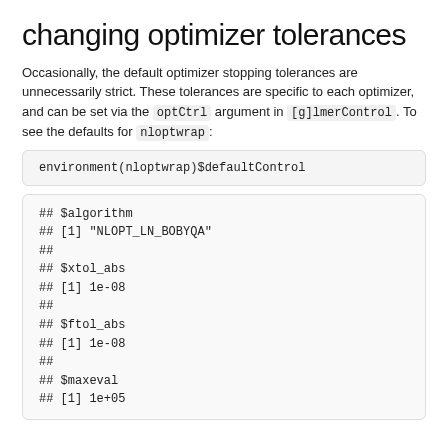changing optimizer tolerances
Occasionally, the default optimizer stopping tolerances are unnecessarily strict. These tolerances are specific to each optimizer, and can be set via the optCtrl argument in [g]lmerControl. To see the defaults for nloptwrap:
## $algorithm
## [1] "NLOPT_LN_BOBYQA"
##
## $xtol_abs
## [1] 1e-08
##
## $ftol_abs
## [1] 1e-08
##
## $maxeval
## [1] 1e+05